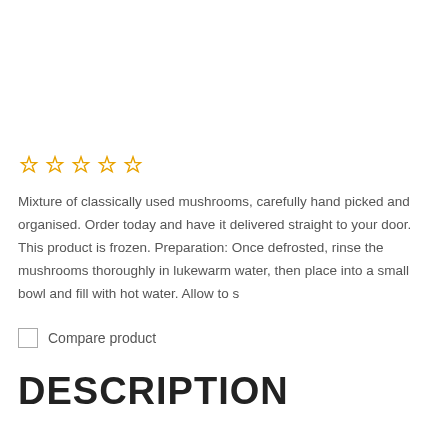[Figure (other): Five empty star rating icons in golden/yellow outline]
Mixture of classically used mushrooms, carefully hand picked and organised. Order today and have it delivered straight to your door. This product is frozen. Preparation: Once defrosted, rinse the mushrooms thoroughly in lukewarm water, then place into a small bowl and fill with hot water. Allow to s
Compare product
DESCRIPTION